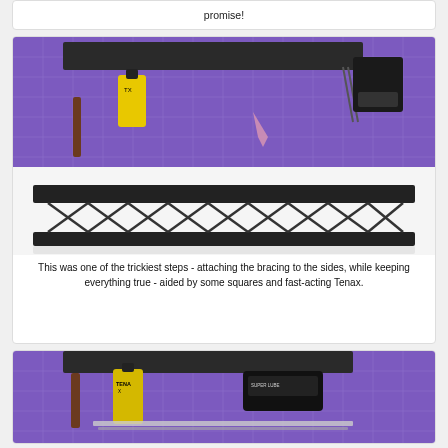promise!
[Figure (photo): A purple cutting mat with a yellow bottle of Tenax glue, model parts including a long black lattice/truss bridge girder structure, tweezers, and other hobby modeling tools on a white surface below.]
This was one of the trickiest steps - attaching the bracing to the sides, while keeping everything true - aided by some squares and fast-acting Tenax.
[Figure (photo): A purple cutting mat with a yellow bottle of Tenax glue, a black device (possibly a sanding tool), and modeling tools/materials visible at the bottom of the frame.]